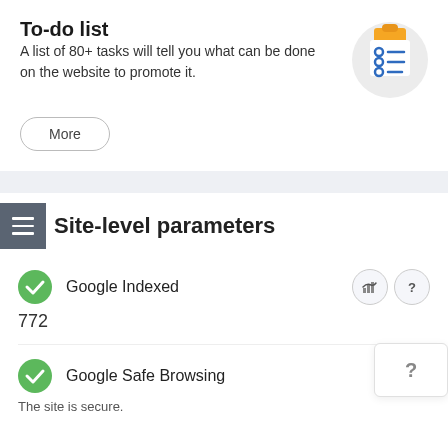To-do list
A list of 80+ tasks will tell you what can be done on the website to promote it.
[Figure (illustration): A circular illustration showing a clipboard/to-do list icon with a yellow folder at the top and three blue checklist items below, on a light grey circle background.]
More
Site-level parameters
Google Indexed
772
Google Safe Browsing
The site is secure.